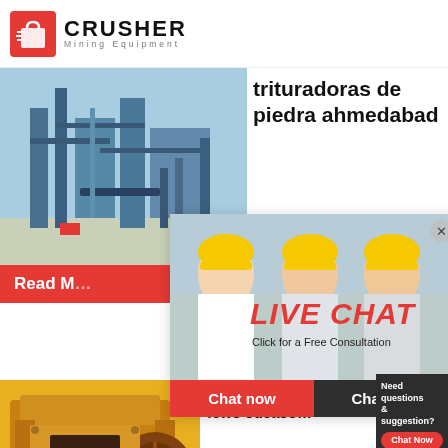[Figure (logo): Crusher Mining Equipment logo with red shopping bag icon and bold text]
[Figure (photo): Industrial mining/crushing plant with blue steel structures against sky]
trituradoras de piedra ahmedabad
Jun 22, 2...
24Hrs Online
Read M...
[Figure (photo): Live chat overlay showing workers in hard hats with LIVE CHAT text and consultation buttons]
LIVE CHAT
Click for a Free Consultation
Chat now
Chat later
[Figure (photo): Yellow jaw crusher / mining equipment]
Ahmedabad Sayaji - fewo sucas...
May 18, 2...
Need questions & suggestion?
Chat Now
Enquiry
limingjlmofen@sina.com